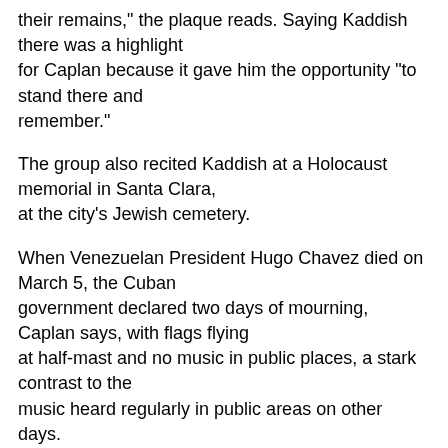their remains," the plaque reads. Saying Kaddish there was a highlight for Caplan because it gave him the opportunity "to stand there and remember."
The group also recited Kaddish at a Holocaust memorial in Santa Clara, at the city's Jewish cemetery.
When Venezuelan President Hugo Chavez died on March 5, the Cuban government declared two days of mourning, Caplan says, with flags flying at half-mast and no music in public places, a stark contrast to the music heard regularly in public areas on other days.
Before the Cuban revolution in 1959, as many as 15,000 Jews lived in Cuba, Caplan says; today there are an estimated 1,200-1,300.